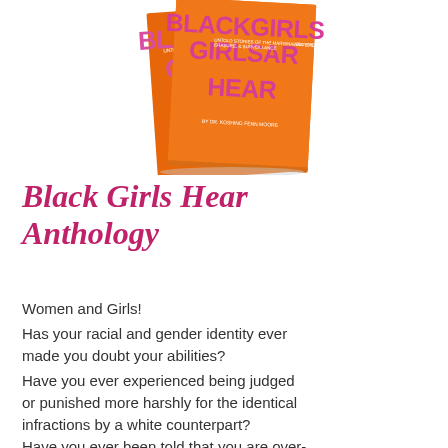[Figure (photo): Book cover of 'Black Girls Hear Anthology' shown at a slight angle, orange background with large magenta/pink bold text reading BLACKGIRLS GIRLSAR HEAR, with subtitle text and author name visible.]
Black Girls Hear Anthology
Women and Girls!
Has your racial and gender identity ever made you doubt your abilities?
Have you ever experienced being judged or punished more harshly for the identical infractions by a white counterpart?
Have you ever been told that you are over-ly?